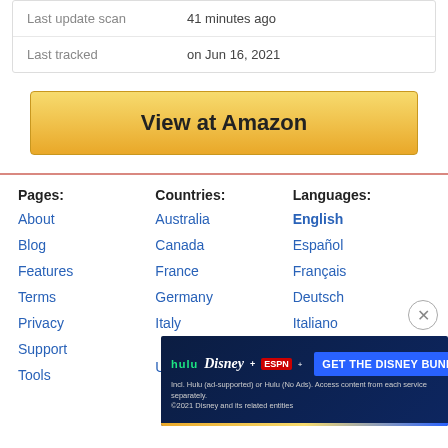| Last update scan | 41 minutes ago |
| Last tracked | on Jun 16, 2021 |
View at Amazon
Pages:
Countries:
Languages:
About
Australia
English
Blog
Canada
Español
Features
France
Français
Terms
Germany
Deutsch
Privacy
Italy
Italiano
Support
Tools
United Kingdom
[Figure (screenshot): Disney Bundle advertisement banner with Hulu, Disney+, and ESPN+ logos and 'GET THE DISNEY BUNDLE' call to action button]